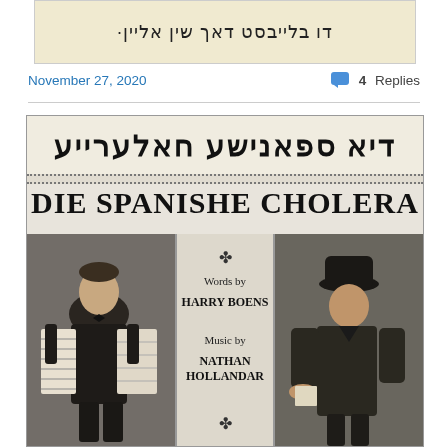[Figure (photo): Cropped top portion of a Yiddish text banner with Hebrew/Yiddish script reading 'דו בלייבסט דאך שין אליין']
November 27, 2020
4 Replies
[Figure (photo): Sheet music cover for 'Die Spanishe Cholera' (The Spanish Cholera). Hebrew/Yiddish title at top, main title in large Latin letters 'DIE SPANISHE CHOLERA', with two black-and-white photographs of musicians flanking center text crediting 'Words by HARRY BOENS' and 'Music by NATHAN HOLLANDAR'. Left photo shows a man with an accordion; right shows a man wearing a hat.]